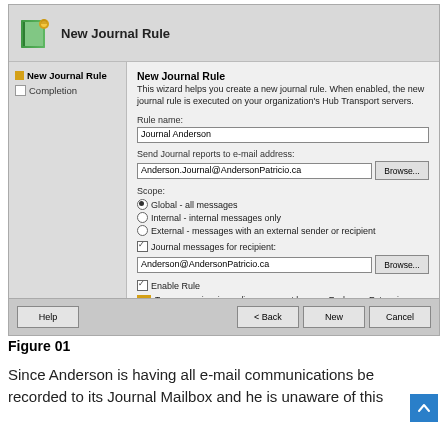[Figure (screenshot): Windows dialog box titled 'New Journal Rule' showing fields: Rule name: Journal Anderson, Send Journal reports to e-mail address: Anderson.Journal@AndersonPatricio.ca with Browse button, Scope options (Global selected), Journal messages for recipient checkbox checked with Anderson@AndersonPatricio.ca, Enable Rule checkbox checked, warning about Exchange Enterprise Client Access License (CAL). Bottom buttons: Help, Back, New, Cancel.]
Figure 01
Since Anderson is having all e-mail communications be recorded to its Journal Mailbox and he is unaware of this